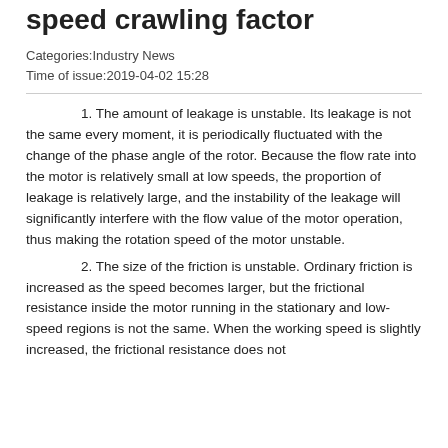speed crawling factor
Categories:Industry News
Time of issue:2019-04-02 15:28
1. The amount of leakage is unstable. Its leakage is not the same every moment, it is periodically fluctuated with the change of the phase angle of the rotor. Because the flow rate into the motor is relatively small at low speeds, the proportion of leakage is relatively large, and the instability of the leakage will significantly interfere with the flow value of the motor operation, thus making the rotation speed of the motor unstable.
2. The size of the friction is unstable. Ordinary friction is increased as the speed becomes larger, but the frictional resistance inside the motor running in the stationary and low-speed regions is not the same. When the working speed is slightly increased, the frictional resistance does not